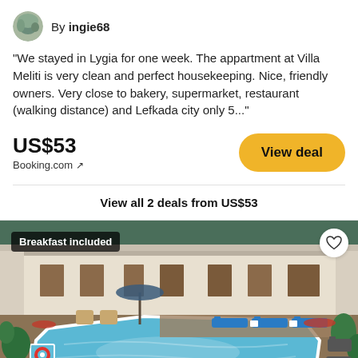By ingie68
"We stayed in Lygia for one week. The appartment at Villa Meliti is very clean and perfect housekeeping. Nice, friendly owners. Very close to bakery, supermarket, restaurant (walking distance) and Lefkada city only 5..."
US$53
Booking.com ↗
View deal
View all 2 deals from US$53
[Figure (photo): Outdoor swimming pool area with blue lounge chairs, surrounding patio, garden with red flowers, and white building with rooms in background. Label 'Breakfast included' in top-left corner.]